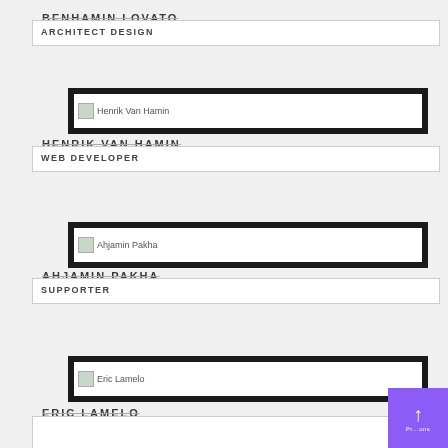BENHAMIN LOVATO
ARCHITECT DESIGN
[Figure (photo): Profile photo placeholder for Henrik Van Hamin]
HENRIK VAN HAMIN
WEB DEVELOPER
[Figure (photo): Profile photo placeholder for Ahjamin Pakha]
AHJAMIN PAKHA
SUPPORTER
[Figure (photo): Profile photo placeholder for Eric Lamelo]
ERIC LAMELO